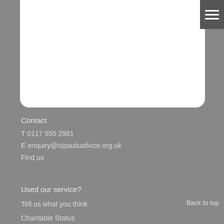[Figure (other): White rounded card/panel at top of page]
[Figure (other): Dark grey hamburger menu button in top right corner with three horizontal white lines]
Contact
T 0117 955 2981
E enquiry@stpaulsadvice.org.uk
Find us
Used our service?
Tell us what you think
Charitable Status
Back to top